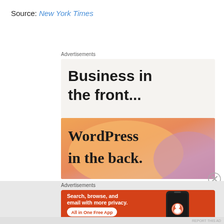Source: New York Times
Advertisements
[Figure (screenshot): WordPress advertisement: top half shows 'Business in the front...' on light gray background; bottom half shows 'WordPress in the back.' on orange/peach gradient background]
Advertisements
[Figure (screenshot): DuckDuckGo advertisement on orange-red background: 'Search, browse, and email with more privacy. All in One Free App' with smartphone and DuckDuckGo logo]